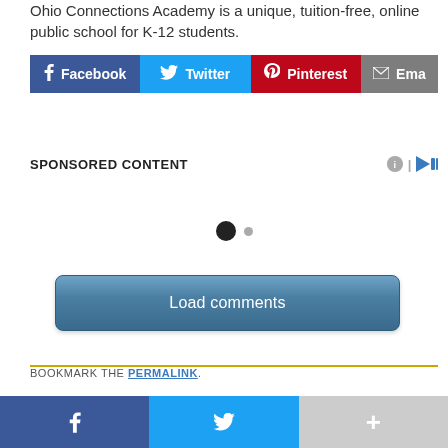Ohio Connections Academy is a unique, tuition-free, online public school for K-12 students.
[Figure (infographic): Social share buttons: Facebook (blue), Twitter (cyan), Pinterest (red), Email (gray)]
SPONSORED CONTENT
[Figure (infographic): Carousel dots indicator: one large filled dot and one small dot]
Load comments
BOOKMARK THE PERMALINK.
PREVIOUS ... NEXT
[Figure (infographic): Bottom bar with Facebook, Twitter, and more (+) share buttons]